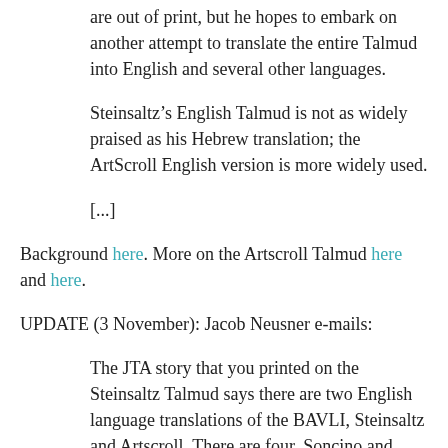are out of print, but he hopes to embark on another attempt to translate the entire Talmud into English and several other languages.
Steinsaltz’s English Talmud is not as widely praised as his Hebrew translation; the ArtScroll English version is more widely used.
[...]
Background here. More on the Artscroll Talmud here and here.
UPDATE (3 November): Jacob Neusner e-mails:
The JTA story that you printed on the Steinsaltz Talmud says there are two English language translations of the BAVLI, Steinsaltz and Artscroll. There are four, Soncino and mine,
In mine I translated 32 tractates and the other five were done by others (fully credited to them ad loc). Soncino was done in the 1930s and